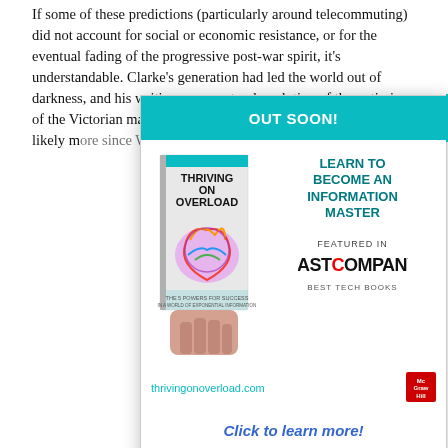If some of these predictions (particularly around telecommuting) did not account for social or economic resistance, or for the eventual fading of the progressive post-war spirit, it's understandable. Clarke's generation had led the world out of darkness, and his writing was a natural evolution of the optimism of the Victorian masters, who had perfected visions of... and even likely more since World War.
This website or it... user experience a... why we need to...
By clicking the agr... the website, yo...
[Figure (screenshot): Modal advertisement overlay with teal header reading 'OUT SOON!', a close button, book cover for 'Thriving on Overload' by Ross Dawson, text 'LEARN TO BECOME AN INFORMATION MASTER', 'FEATURED IN FAST COMPANY BEST TECH BOOKS', URL 'thrivingonoverload.com', McGraw Hill logo, and 'Click to learn more!' link.]